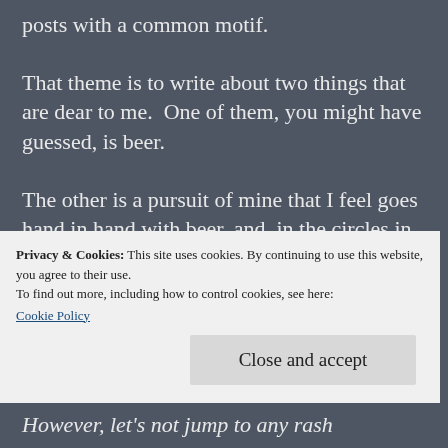posts with a common motif.
That theme is to write about two things that are dear to me.  One of them, you might have guessed, is beer.
The other is a pursuit of mine that I feel goes hand in hand with beer, and, in the circles in which I travel, I think I'd be able to find a number of fine, sweaty folks who agree with me (no, the perspiring people I am referring to
Privacy & Cookies: This site uses cookies. By continuing to use this website, you agree to their use.
To find out more, including how to control cookies, see here:
Cookie Policy
Close and accept
However, let's not jump to any rash